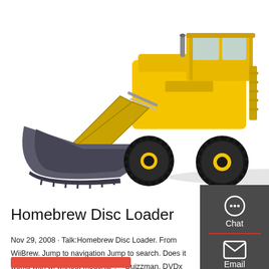[Figure (photo): Yellow and black wheel loader / front loader construction vehicle with large bucket, photographed on white background]
Homebrew Disc Loader
Nov 29, 2008 · Talk:Homebrew Disc Loader. From WiiBrew. Jump to navigation Jump to search. Does it works with wi without modchip ? --Quizzman. DVDx works without a modchip, using low-level commands to read DVDs, so no modchip should be required. --Pinecone 15:26, 29 November 2008 (UTC)